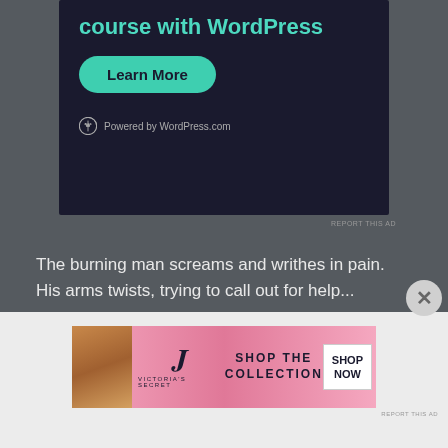[Figure (screenshot): WordPress.com advertisement banner with dark background, teal headline text 'course with WordPress', a teal 'Learn More' rounded button, and 'Powered by WordPress.com' footer with WordPress logo]
REPORT THIS AD
The burning man screams and writhes in pain. His arms twists, trying to call out for help...
But no one can save him, once the flames grow he breathes his last breath and falls.
[Figure (screenshot): Victoria's Secret advertisement banner with pink gradient background, VS logo, 'SHOP THE COLLECTION' text, and 'SHOP NOW' white button, with model photo on left]